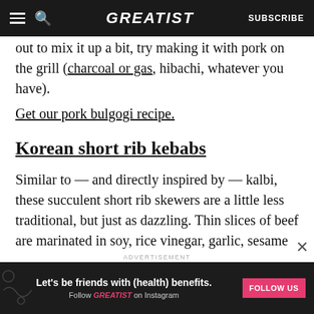GREATIST | SUBSCRIBE
out to mix it up a bit, try making it with pork on the grill (charcoal or gas, hibachi, whatever you have).
Get our pork bulgogi recipe.
Korean short rib kebabs
Similar to — and directly inspired by — kalbi, these succulent short rib skewers are a little less traditional, but just as dazzling. Thin slices of beef are marinated in soy, rice vinegar, garlic, sesame oil, and Sriracha before being threaded satay-style
ADVERTISEMENT
[Figure (other): Greatist advertisement banner: 'Let's be friends with (health) benefits. Follow GREATIST on Instagram' with FOLLOW US button]